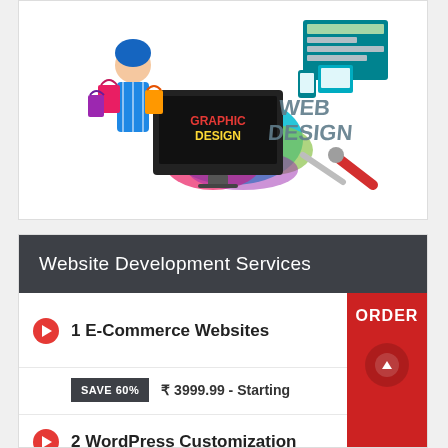[Figure (illustration): Graphic design and web design promotional illustration showing a woman with shopping bags, a computer monitor displaying 'GRAPHIC DESIGN', colorful paint splashes, and 'WEB DESIGN' text with tools]
Website Development Services
1 E-Commerce Websites
SAVE 60%  ₹ 3999.99 - Starting
2 WordPress Customization